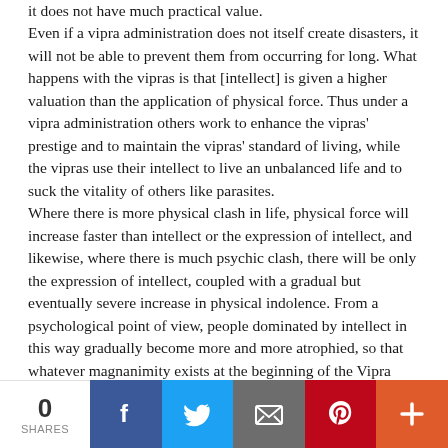it does not have much practical value. Even if a vipra administration does not itself create disasters, it will not be able to prevent them from occurring for long. What happens with the vipras is that [intellect] is given a higher valuation than the application of physical force. Thus under a vipra administration others work to enhance the vipras' prestige and to maintain the vipras' standard of living, while the vipras use their intellect to live an unbalanced life and to suck the vitality of others like parasites. Where there is more physical clash in life, physical force will increase faster than intellect or the expression of intellect, and likewise, where there is much psychic clash, there will be only the expression of intellect, coupled with a gradual but eventually severe increase in physical indolence. From a psychological point of view, people dominated by intellect in this way gradually become more and more atrophied, so that whatever magnanimity exists at the beginning of the Vipra
0 SHARES | Facebook | Twitter | Email | Pinterest | +